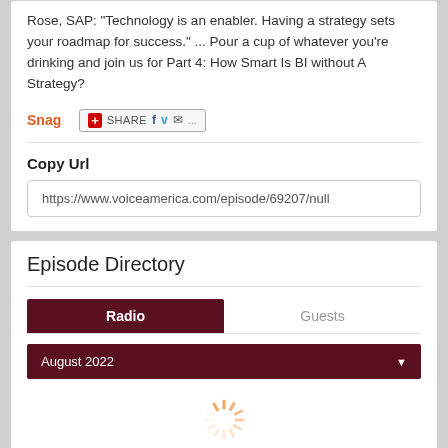Rose, SAP: "Technology is an enabler. Having a strategy sets your roadmap for success." ... Pour a cup of whatever you’re drinking and join us for Part 4: How Smart Is BI without A Strategy?
Snag
[Figure (screenshot): Share button with social media icons for Facebook, Twitter, and email]
Copy Url
https://www.voiceamerica.com/episode/69207/null
Episode Directory
Radio | Guests tabs
August 2022
[Figure (other): Loading spinner icon]